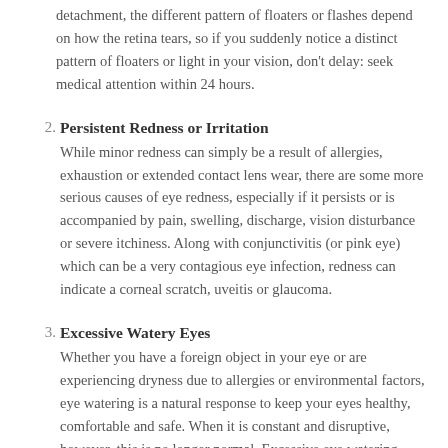detachment, the different pattern of floaters or flashes depend on how the retina tears, so if you suddenly notice a distinct pattern of floaters or light in your vision, don't delay: seek medical attention within 24 hours.
2. Persistent Redness or Irritation
While minor redness can simply be a result of allergies, exhaustion or extended contact lens wear, there are some more serious causes of eye redness, especially if it persists or is accompanied by pain, swelling, discharge, vision disturbance or severe itchiness. Along with conjunctivitis (or pink eye) which can be a very contagious eye infection, redness can indicate a corneal scratch, uveitis or glaucoma.
3. Excessive Watery Eyes
Whether you have a foreign object in your eye or are experiencing dryness due to allergies or environmental factors, eye watering is a natural response to keep your eyes healthy, comfortable and safe. When it is constant and disruptive, however, this is no longer normal. Excessive eye watering could indicate a chronic